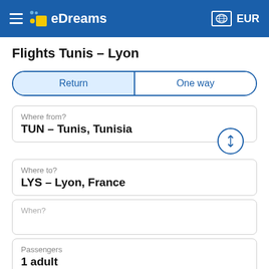eDreams EUR
Flights Tunis – Lyon
Return | One way
Where from?
TUN – Tunis, Tunisia
Where to?
LYS – Lyon, France
When?
Passengers
1 adult